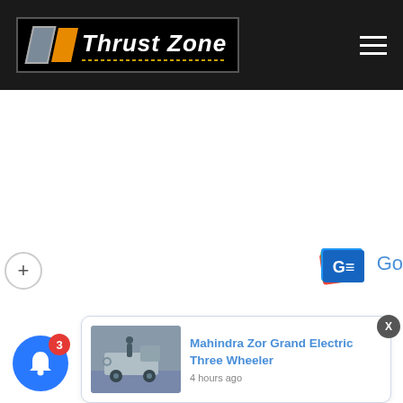Thrust Zone
[Figure (screenshot): Google News widget icon (GE logo with colorful layered cards) with partial text 'Go' visible on right edge]
[Figure (screenshot): Blue circular notification bell button with red badge showing count 3]
[Figure (photo): Thumbnail image of Mahindra Zor Grand Electric Three Wheeler vehicle at an event]
Mahindra Zor Grand Electric Three Wheeler
4 hours ago